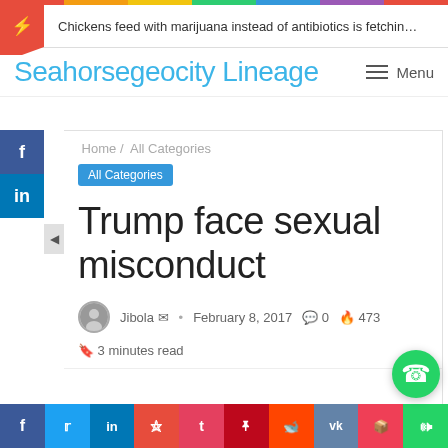Chickens feed with marijuana instead of antibiotics is fetchin…
Seahorsegeocity Lineage
Home / All Categories
All Categories
Trump face sexual misconduct
Jibola • February 8, 2017 0 473 3 minutes read